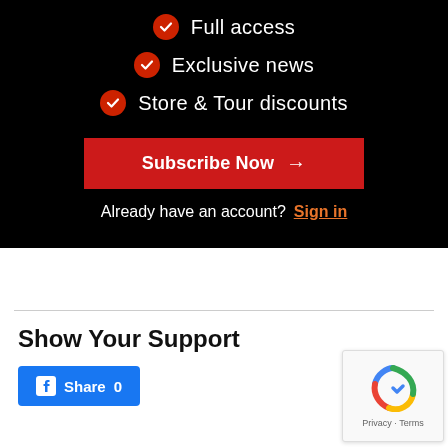Full access
Exclusive news
Store & Tour discounts
Subscribe Now →
Already have an account? Sign in
Show Your Support
Share 0